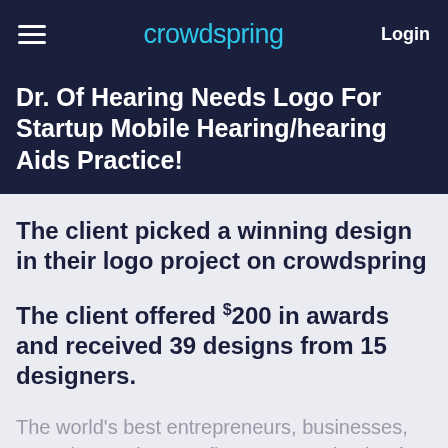crowdspring  Login
Dr. Of Hearing Needs Logo For Startup Mobile Hearing/hearing Aids Practice!
The client picked a winning design in their logo project on crowdspring
The client offered $200 in awards and received 39 designs from 15 designers.
The world's best entrepreneurs, businesses, agencies, and nonprofits trust crowdspring for custom logo needs.